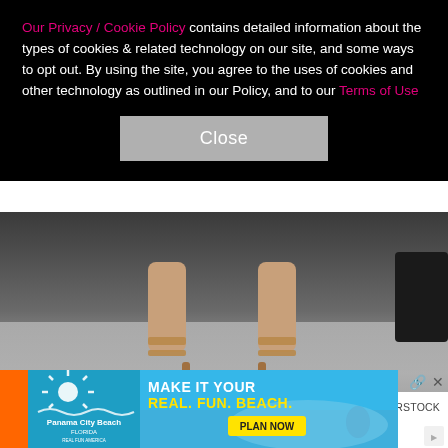Our Privacy / Cookie Policy contains detailed information about the types of cookies & related technology on our site, and some ways to opt out. By using the site, you agree to the uses of cookies and other technology as outlined in our Policy, and to our Terms of Use
[Figure (photo): Close-up photo of a model's feet wearing tan strappy high-heel sandals, on a light gray surface, with a dark object visible at right edge.]
13/115
KELLY TAUB/BFA/REX/SHUTTERSTOCK
Christina Ricci appears at the Calvin Klein show for Fall/Winter 2018 at New York Fashion Week on Feb
[Figure (photo): Advertisement banner for Panama City Beach, Florida. Shows beach imagery with text 'MAKE IT YOUR REAL. FUN. BEACH.' and a yellow 'PLAN NOW' button. Panama City Beach Florida logo on left.]